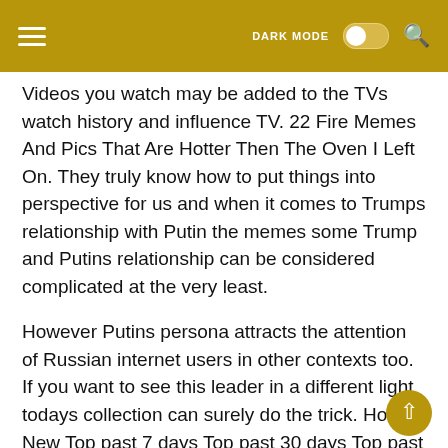DARK MODE [toggle] [search]
Videos you watch may be added to the TVs watch history and influence TV. 22 Fire Memes And Pics That Are Hotter Then The Oven I Left On. They truly know how to put things into perspective for us and when it comes to Trumps relationship with Putin the memes some Trump and Putins relationship can be considered complicated at the very least.
However Putins persona attracts the attention of Russian internet users in other contexts too. If you want to see this leader in a different light todays collection can surely do the trick. Hot New Top past 7 days Top past 30 days Top past year.
If playback doesnt begin shortly try restarting your device. A Bear Putin Rides a Shark Putin Riding a Comet Putin Riding a meteor Putin Riding a dolphin Putin Riding